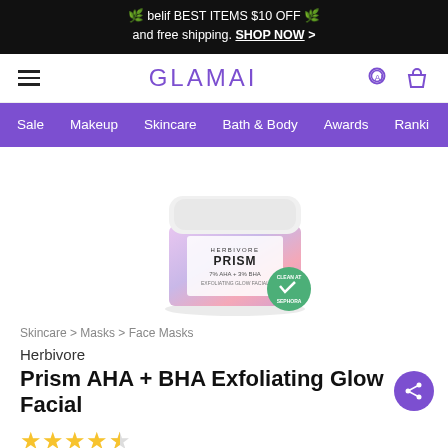🌿 belif BEST ITEMS $10 OFF 🌿 and free shipping. SHOP NOW >
GLAMAI — navigation bar with hamburger menu, search icon, and bag icon
Sale | Makeup | Skincare | Bath & Body | Awards | Ranki...
[Figure (photo): Herbivore Prism AHA + BHA Exfoliating Glow Facial product jar with white lid, pink/lavender holographic glass, labeled HERBIVORE PRISM 7% AHA + 3% BHA, with a green Clean at Sephora badge overlaid at bottom right]
Skincare > Masks > Face Masks
Herbivore
Prism AHA + BHA Exfoliating Glow Facial
★★★★½ (star rating)